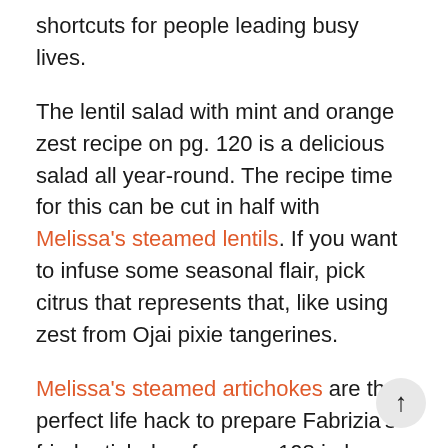shortcuts for people leading busy lives.
The lentil salad with mint and orange zest recipe on pg. 120 is a delicious salad all year-round. The recipe time for this can be cut in half with Melissa's steamed lentils. If you want to infuse some seasonal flair, pick citrus that represents that, like using zest from Ojai pixie tangerines.
Melissa's steamed artichokes are the perfect life hack to prepare Fabrizia's fried artichokes from pg. 108 in her cookbook, again, significantly cutting the kitchen time in half. Although we love enjoying a glass of wine and taking our time in the kitchen when we prepare dinner, not every night allows that…and Melissa's steamed lentils are…